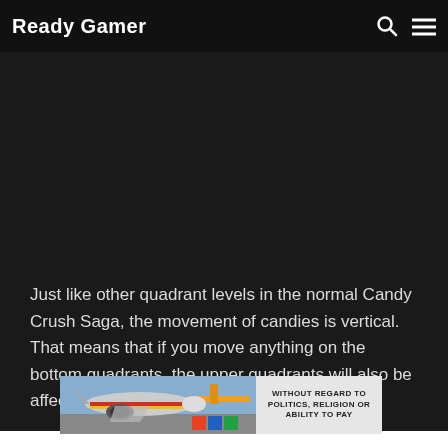Ready Gamer
[Figure (other): Dark advertisement/banner area below the navigation bar, mostly dark background serving as a content area spacer.]
Just like other quadrant levels in the normal Candy Crush Saga, the movement of candies is vertical. That means that if you move anything on the bottom quadrants, the upper quadrants will also be affected.
[Figure (photo): Advertisement banner showing an airplane being loaded with cargo on the left side, and text 'WITHOUT REGARD TO POLITICS, RELIGION OR ABILITY TO PAY' on a light gray background on the right side.]